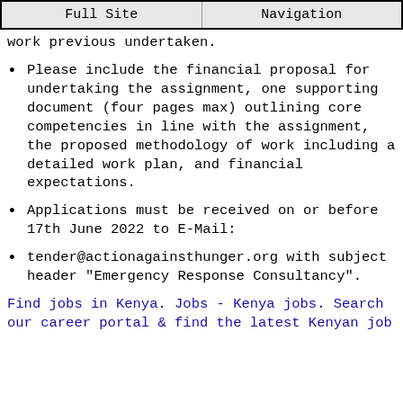Full Site | Navigation
work previous undertaken.
Please include the financial proposal for undertaking the assignment, one supporting document (four pages max) outlining core competencies in line with the assignment, the proposed methodology of work including a detailed work plan, and financial expectations.
Applications must be received on or before 17th June 2022 to E-Mail:
tender@actionagainsthunger.org with subject header "Emergency Response Consultancy".
Find jobs in Kenya. Jobs - Kenya jobs. Search our career portal & find the latest Kenyan job